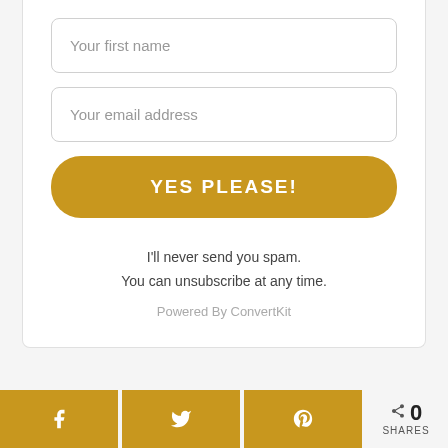Your first name
Your email address
YES PLEASE!
I'll never send you spam.
You can unsubscribe at any time.
Powered By ConvertKit
[Figure (other): Social share buttons row: Facebook, Twitter, Pinterest icons in gold buttons, and a share count showing 0 SHARES]